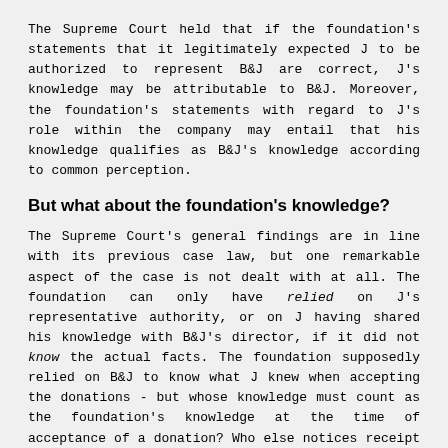The Supreme Court held that if the foundation's statements that it legitimately expected J to be authorized to represent B&J are correct, J's knowledge may be attributable to B&J. Moreover, the foundation's statements with regard to J's role within the company may entail that his knowledge qualifies as B&J's knowledge according to common perception.
But what about the foundation's knowledge?
The Supreme Court's general findings are in line with its previous case law, but one remarkable aspect of the case is not dealt with at all. The foundation can only have relied on J's representative authority, or on J having shared his knowledge with B&J's director, if it did not know the actual facts. The foundation supposedly relied on B&J to know what J knew when accepting the donations - but whose knowledge must count as the foundation's knowledge at the time of acceptance of a donation? Who else notices receipt of the donations in the bank statements, and who else is able to return the payments (which is the only way to avoid acceptance of a donation under article 7:175(2) Dutch Civil Code) but the foundation's treasurer? In other words: J.
For that reason, one would expect the courts involved to have also considered the attribution of J's knowledge to the foundation. If the foundation knew what J knew, it is difficult to imagine how can the foundation can have relied on anything when accepting the donations. Below...